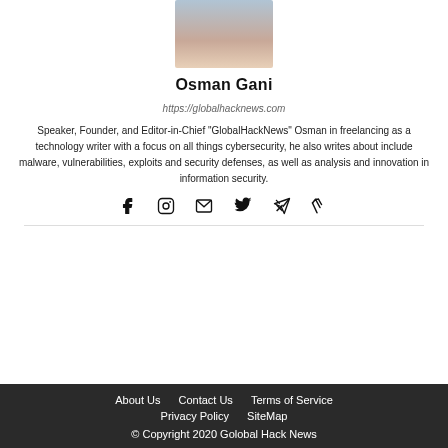[Figure (photo): Profile photo of Osman Gani, cropped headshot showing upper body in light blue shirt]
Osman Gani
https://globalhacknews.com
Speaker, Founder, and Editor-in-Chief "GlobalHackNews" Osman in freelancing as a technology writer with a focus on all things cybersecurity, he also writes about include malware, vulnerabilities, exploits and security defenses, as well as analysis and innovation in information security.
[Figure (infographic): Social media icons row: Facebook, Instagram, Email/envelope, Twitter, Xing]
About Us   Contact Us   Terms of Service   Privacy Policy   SiteMap   © Copyright 2020 Golobal Hack News